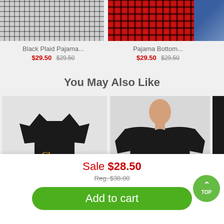[Figure (photo): Black and white plaid pajama pants folded]
Black Plaid Pajama...
$29.50 $29.50
[Figure (photo): Red and black plaid pajama pants folded]
Pajama Bottom...
$29.50 $29.50
[Figure (photo): Partial view of blue item]
You May Also Like
[Figure (photo): Black t-shirt with gold Cheers logo]
[Figure (photo): Black sweatshirt with gold Cheers logo worn by model]
[Figure (photo): Partial view of another black item]
Sale $28.50
Reg. $38.00
Add to cart